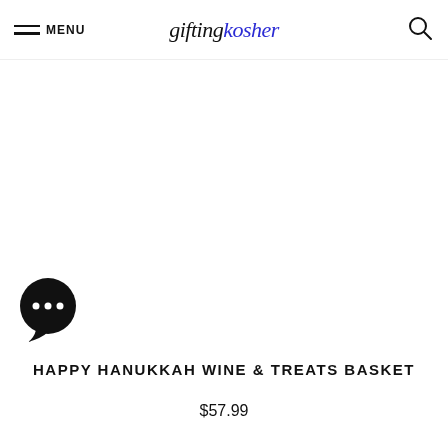MENU  giftingkosher
HAPPY HANUKKAH WINE & TREATS BASKET
$57.99